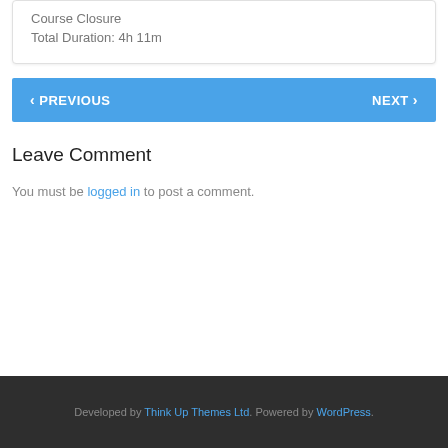Course Closure
Total Duration: 4h 11m
< PREVIOUS    NEXT >
Leave Comment
You must be logged in to post a comment.
Developed by Think Up Themes Ltd. Powered by WordPress.